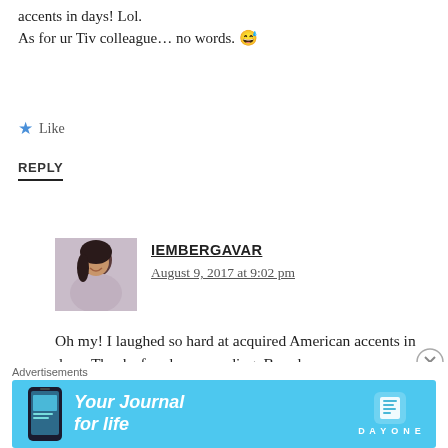accents in days! Lol.
As for ur Tiv colleague… no words. 😅
★ Like
REPLY
IEMBERGAVAR
August 9, 2017 at 9:02 pm
Oh my! I laughed so hard at acquired American accents in days. Thanks for always reading, Brenda.
Advertisements
[Figure (illustration): Blue advertisement banner for Day One journal app reading 'Your Journal for life' with phone graphic and Day One logo]